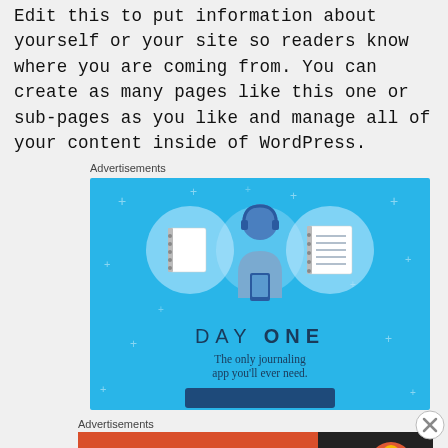Edit this to put information about yourself or your site so readers know where you are coming from. You can create as many pages like this one or sub-pages as you like and manage all of your content inside of WordPress.
Advertisements
[Figure (illustration): Day One journaling app advertisement. Blue background with three circular icons showing a notebook, a person with headphones holding a phone, and a lined note. Text reads 'DAY ONE - The only journaling app you'll ever need.' with a call-to-action button.]
Advertisements
[Figure (illustration): DuckDuckGo advertisement. Left side orange/red background with white bold text 'Search, browse, and email with more privacy. All in One Free App'. Right side dark background with DuckDuckGo logo and duck icon.]